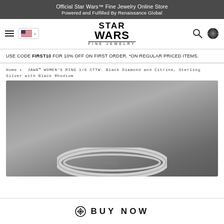Official Star Wars™ Fine Jewelry Online Store
Powered and Fulfilled By Renaissance Global
[Figure (logo): Star Wars Fine Jewelry logo with hamburger menu, US flag country selector, search icon, and Millennium Falcon cart icon]
USE CODE FIRST10 FOR 10% OFF ON FIRST ORDER. *ON REGULAR PRICED ITEMS.
Home • JAWA™ WOMEN'S RING 1/8 CTTW. Black Diamond and Citrine, Sterling Silver with Black Rhodium
[Figure (photo): Product photo of a silver ring with © LFL engraving on a dark grey gradient background]
⊕ BUY NOW